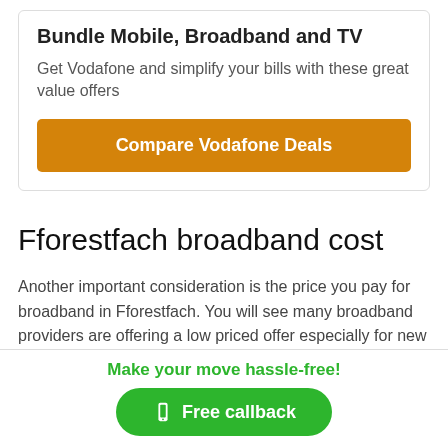Bundle Mobile, Broadband and TV
Get Vodafone and simplify your bills with these great value offers
Compare Vodafone Deals
Fforestfach broadband cost
Another important consideration is the price you pay for broadband in Fforestfach. You will see many broadband providers are offering a low priced offer especially for new
Make your move hassle-free!
Free callback